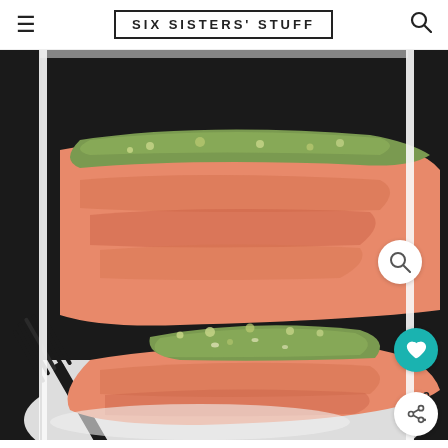SIX SISTERS' STUFF
[Figure (photo): Close-up photo of cooked salmon fillets topped with a green herb and breadcrumb crust, served on a white plate with a dark fork visible in the background.]